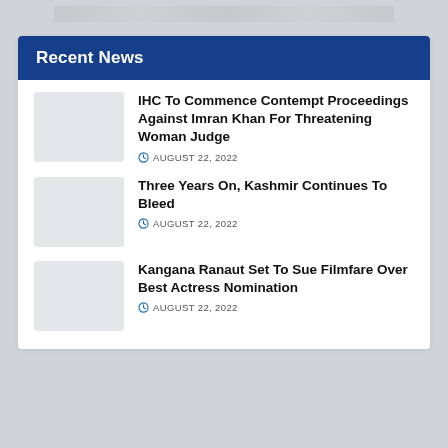Recent News
IHC To Commence Contempt Proceedings Against Imran Khan For Threatening Woman Judge
AUGUST 22, 2022
Three Years On, Kashmir Continues To Bleed
AUGUST 22, 2022
Kangana Ranaut Set To Sue Filmfare Over Best Actress Nomination
AUGUST 22, 2022